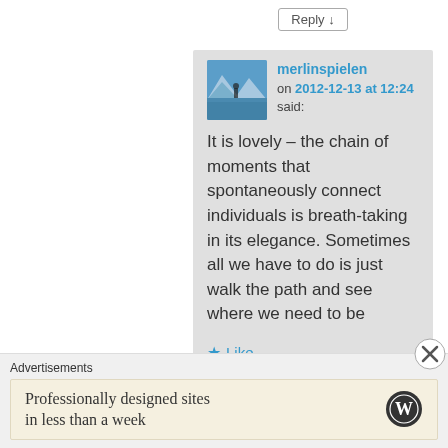Reply ↓
merlinspielen on 2012-12-13 at 12:24 said:
It is lovely – the chain of moments that spontaneously connect individuals is breath-taking in its elegance. Sometimes all we have to do is just walk the path and see where we need to be
Like
Advertisements
Professionally designed sites in less than a week